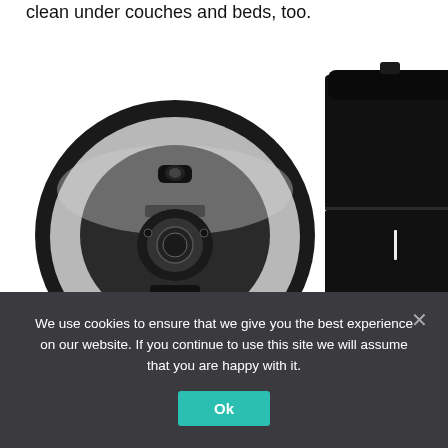clean under couches and beds, too.
[Figure (photo): Product photo showing iRobot Roomba robot vacuum (circular, silver/black, viewed from top-front angle) on the left, and the iRobot Clean Base automatic dirt disposal unit (tall black tower on a wide base/dock) on the right.]
iRobot
We use cookies to ensure that we give you the best experience on our website. If you continue to use this site we will assume that you are happy with it.